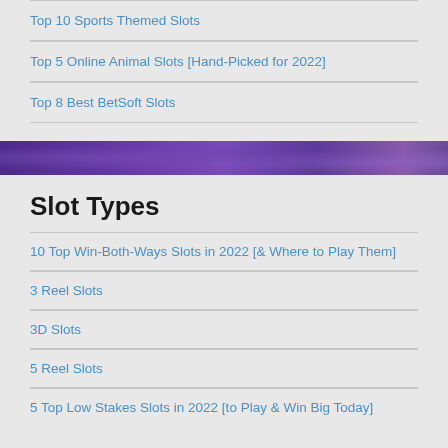Top 10 Sports Themed Slots
Top 5 Online Animal Slots [Hand-Picked for 2022]
Top 8 Best BetSoft Slots
[Figure (illustration): Purple decorative banner with heart/diamond shapes in dark purple gradient]
Slot Types
10 Top Win-Both-Ways Slots in 2022 [& Where to Play Them]
3 Reel Slots
3D Slots
5 Reel Slots
5 Top Low Stakes Slots in 2022 [to Play & Win Big Today]